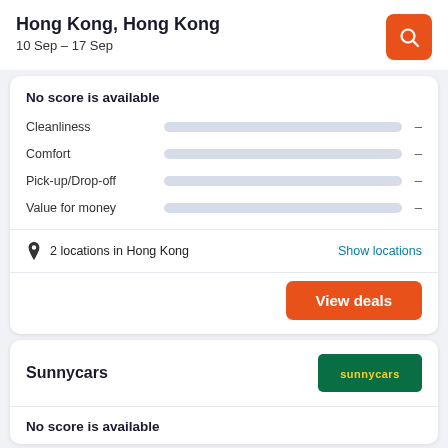Hong Kong, Hong Kong
10 Sep – 17 Sep
No score is available
Cleanliness –
Comfort –
Pick-up/Drop-off –
Value for money –
2 locations in Hong Kong
Show locations
View deals
Sunnycars
No score is available